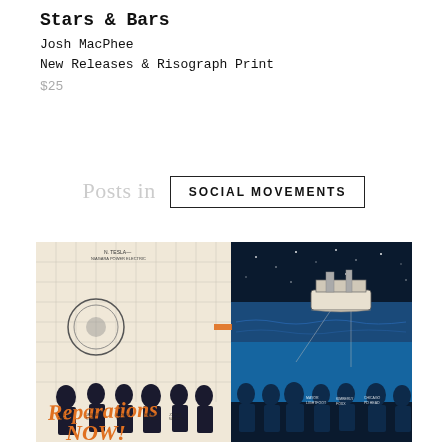Stars & Bars
Josh MacPhee
New Releases & Risograph Print
$25
Posts in
SOCIAL MOVEMENTS
[Figure (illustration): A complex risograph-style print showing a split composition: left side with a grid map, figures, and orange text 'Reparations NOW!'; right side showing a dark ocean scene with a boat at night and silhouetted figures standing at a waterfront.]